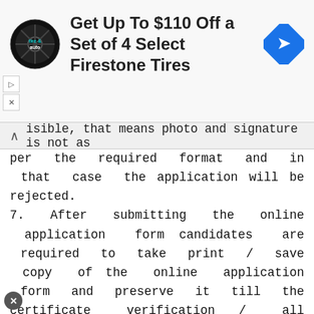[Figure (other): Advertisement banner: 'Get Up To $110 Off a Set of 4 Select Firestone Tires' with a tire & auto logo on the left and a blue navigation/direction icon on the right.]
isible, that means photo and signature is not as per the required format and in that case the application will be rejected.
7. After submitting the online application form candidates are required to take print / save copy of the online application form and preserve it till the certificate verification / all the selection process completes.
8. Apart from sending the application through email to careergso@ igcar.gov.in, candidates applied for the posts bearing code no. M01 to M04 & T01 are required to forward hard copy of their application